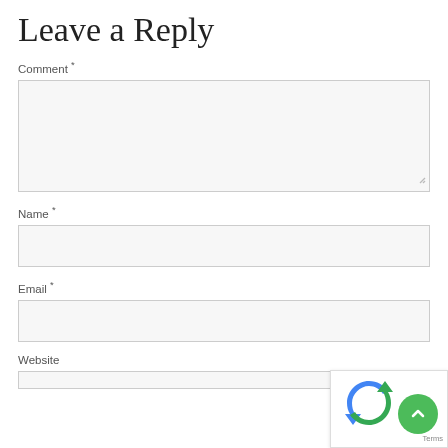Leave a Reply
Comment *
[Figure (screenshot): Large textarea input field for comment entry, with resize handle at bottom right]
Name *
[Figure (screenshot): Single-line text input field for name]
Email *
[Figure (screenshot): Single-line text input field for email]
Website
[Figure (screenshot): reCAPTCHA widget overlay in bottom-right corner with green scroll-to-top button and Terms text]